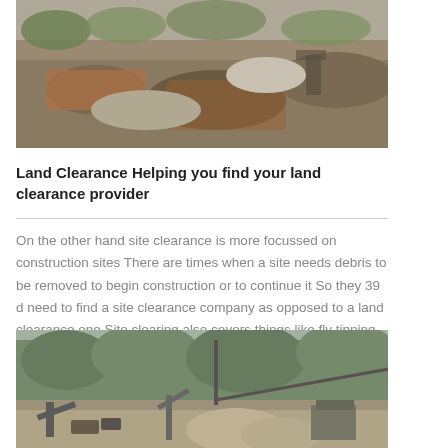[Figure (photo): Aerial view of a land clearance/quarry site with rocks, orange soil, and construction equipment]
Land Clearance Helping you find your land clearance provider
On the other hand site clearance is more focussed on construction sites There are times when a site needs debris to be removed to begin construction or to continue it So they 39 d need to find a site clearance company as opposed to a land clearance one Site clearing also covers things like fly tipping sites All of the waste nbsp
[Figure (photo): Construction site or quarry with machinery, conveyor belts, trees in background]